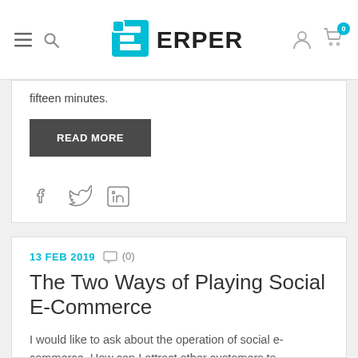ERPER
fifteen minutes.
READ MORE
[Figure (illustration): Social media icons: Facebook, Twitter, LinkedIn]
13 FEB 2019   (0)
The Two Ways of Playing Social E-Commerce
I would like to ask about the operation of social e-commerce. How can I attract other customers to cooperate with myself in the early stage? Or how to